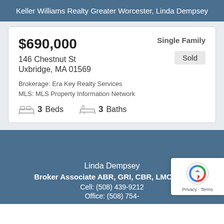Keller Williams Realty Greater Worcester, Linda Dempsey
$690,000
Single Family
Sold
146 Chestnut St
Uxbridge, MA 01569
Brokerage: Era Key Realty Services
MLS: MLS Property Information Network
3 Beds   3 Baths
Linda Dempsey
Broker Associate ABR, GRI, CBR, LMC, Rea...
Cell: (508) 439-9212
Office: (508) 754-XXXX